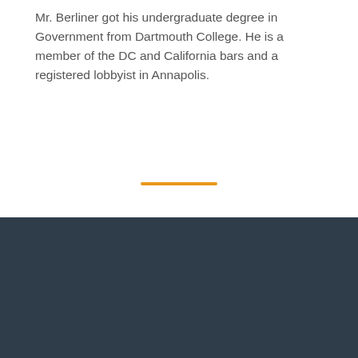Mr. Berliner got his undergraduate degree in Government from Dartmouth College. He is a member of the DC and California bars and a registered lobbyist in Annapolis.
[Figure (other): Dark navy/slate blue footer background block with a darker strip on the left edge]